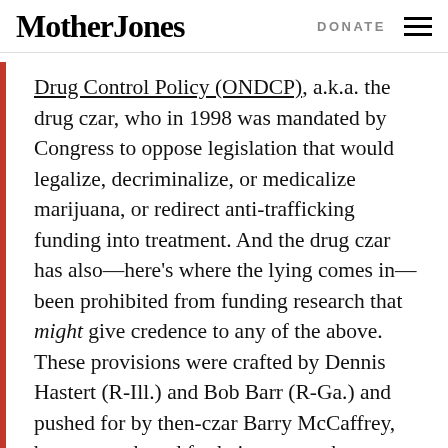Mother Jones  DONATE
Drug Control Policy (ONDCP), a.k.a. the drug czar, who in 1998 was mandated by Congress to oppose legislation that would legalize, decriminalize, or medicalize marijuana, or redirect anti-trafficking funding into treatment. And the drug czar has also—here's where the lying comes in—been prohibited from funding research that might give credence to any of the above. These provisions were crafted by Dennis Hastert (R-Ill.) and Bob Barr (R-Ga.) and pushed for by then-czar Barry McCaffrey, best remembered for being somewhat comically obsessed with the evils of medical marijuana. A few Dems complained